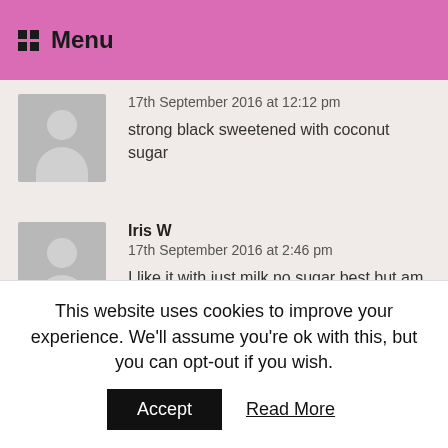Menu
17th September 2016 at 12:12 pm
strong black sweetened with coconut sugar
Iris W
17th September 2016 at 2:46 pm
I like it with just milk no sugar best but am not that fussy really
Jim M
17th September 2016 at 3:36 pm
i like my coffee string, warm and black
This website uses cookies to improve your experience. We'll assume you're ok with this, but you can opt-out if you wish.
Accept   Read More